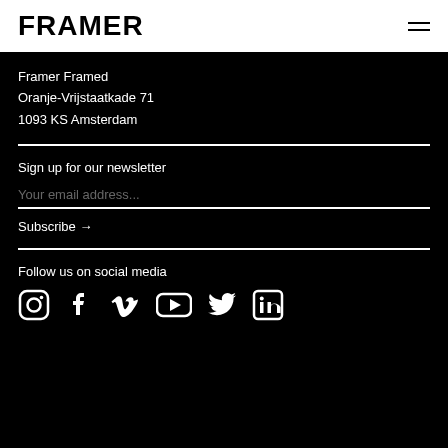FRAMER
Framer Framed
Oranje-Vrijstaatkade 71
1093 KS Amsterdam
Sign up for our newsletter
Your email address...
Subscribe →
Follow us on social media
[Figure (infographic): Social media icons: Instagram, Facebook, Vimeo, YouTube, Twitter, LinkedIn]